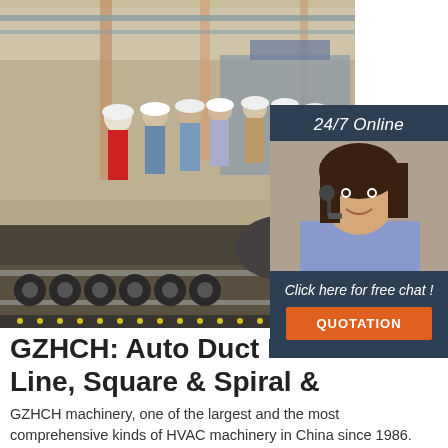[Figure (photo): Factory floor photo showing workers in hard hats standing near industrial duct production machinery, large pipes and metal components visible in a warehouse setting]
[Figure (photo): 24/7 Online chat widget overlay showing a female customer service agent wearing a headset, with 'Click here for free chat!' text and an orange QUOTATION button on a dark blue background]
GZHCH: Auto Duct Production Line, Square & Spiral &
GZHCH machinery, one of the largest and the most comprehensive kinds of HVAC machinery in China since 1986. Specialized in HVAC ducting